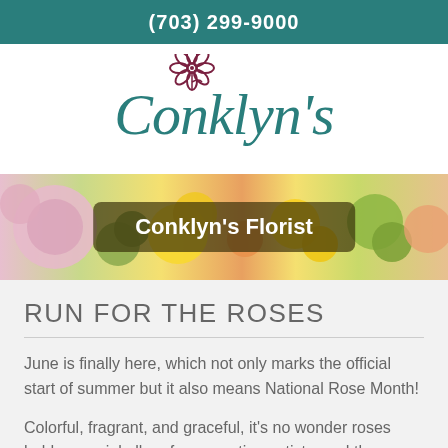(703) 299-9000
[Figure (logo): Conklyn's Florist logo with teal script text and a dark red flower illustration]
[Figure (photo): Banner photo of colorful flowers including pink chrysanthemums, yellow sunflowers, green hydrangeas, with overlay text 'Conklyn's Florist']
RUN FOR THE ROSES
June is finally here, which not only marks the official start of summer but it also means National Rose Month!
Colorful, fragrant, and graceful, it's no wonder roses hold a special allure for romantics, artists, and the—